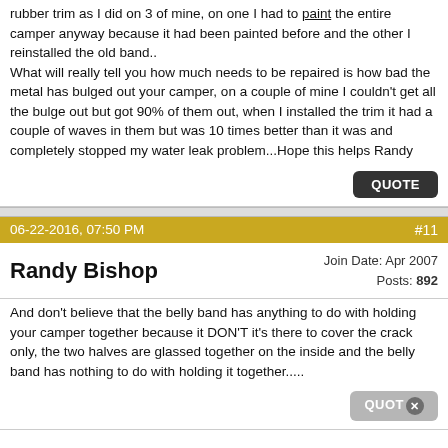rubber trim as I did on 3 of mine, on one I had to paint the entire camper anyway because it had been painted before and the other I reinstalled the old band.. What will really tell you how much needs to be repaired is how bad the metal has bulged out your camper, on a couple of mine I couldn't get all the bulge out but got 90% of them out, when I installed the trim it had a couple of waves in them but was 10 times better than it was and completely stopped my water leak problem...Hope this helps Randy
06-22-2016, 07:50 PM
#11
Randy Bishop
Join Date: Apr 2007
Posts: 892
And don't believe that the belly band has anything to do with holding your camper together because it DON'T it's there to cover the crack only, the two halves are glassed together on the inside and the belly band has nothing to do with holding it together.....